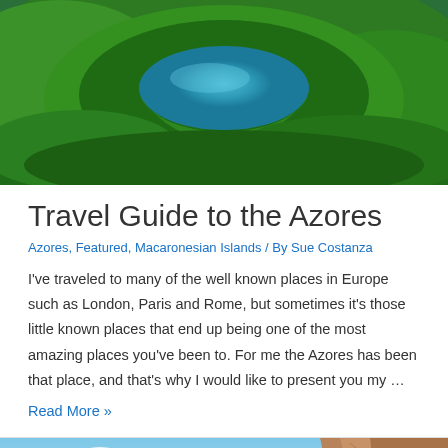[Figure (photo): Aerial view of a volcanic crater lake with lush green vegetation in the Azores]
Travel Guide to the Azores
Azores, Featured, Macaronesian Islands / By Sue Costanza
I've traveled to many of the well known places in Europe such as London, Paris and Rome, but sometimes it's those little known places that end up being one of the most amazing places you've been to. For me the Azores has been that place, and that's why I would like to present you my …
Read More »
[Figure (photo): Coastal cliffs and blue sky in the Azores, partially visible at bottom of page]